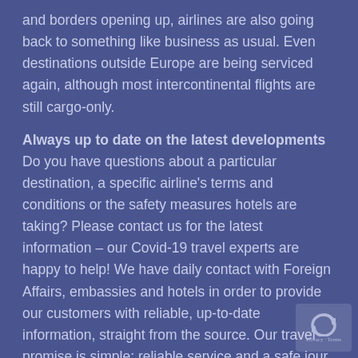and borders opening up, airlines are also going back to something like business as usual. Even destinations outside Europe are being serviced again, although most intercontinental flights are still cargo-only.
Always up to date on the latest developments
Do you have questions about a particular destination, a specific airline's terms and conditions or the safety measures hotels are taking? Please contact us for the latest information – our Covid-19 travel experts are happy to help! We have daily contact with Foreign Affairs, embassies and hotels in order to provide our customers with reliable, up-to-date information, straight from the source. Our travel promise is simple: reliable service and a safe jour
[Figure (other): reCAPTCHA badge with icon and Privacy - Terms text]